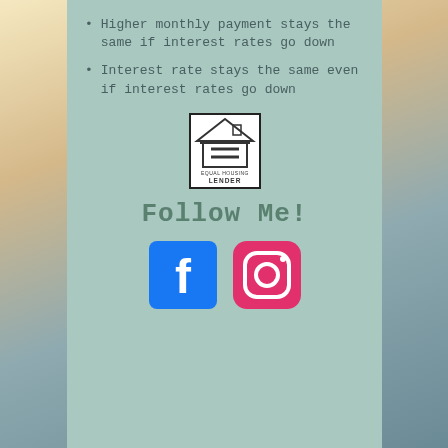Higher monthly payment stays the same if interest rates go down
Interest rate stays the same even if interest rates go down
[Figure (logo): Equal Housing Lender logo — house with equal sign, text EQUAL HOUSING LENDER]
Follow Me!
[Figure (logo): Facebook logo icon (blue square with white F) and Instagram logo icon (pink/magenta rounded square with camera outline)]